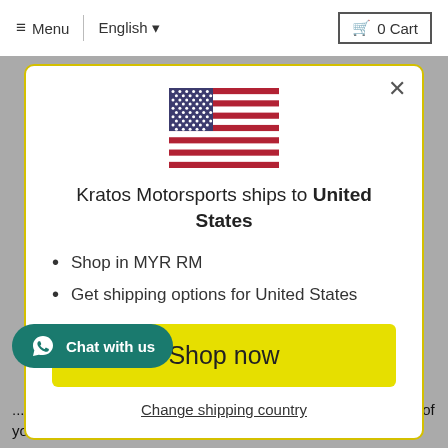≡ Menu  |  English ▼  🛒 0 Cart
[Figure (illustration): US flag icon centered in modal]
Kratos Motorsports ships to United States
Shop in MYR RM
Get shipping options for United States
Shop now
Change shipping country
...one and a half days, (the longer the better) choose a colour of your own liking and style that